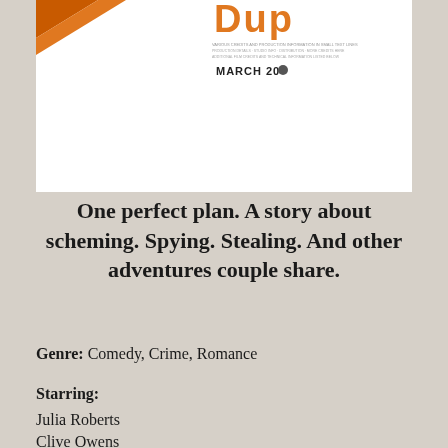[Figure (photo): Movie poster image for a film, showing an orange/brown graphic element in the upper left corner, large stylized title letters in orange, film credits text in small print, and 'MARCH 20' release date text on white background]
One perfect plan. A story about scheming. Spying. Stealing. And other adventures couple share.
Genre: Comedy, Crime, Romance
Starring:
Julia Roberts
Clive Owens